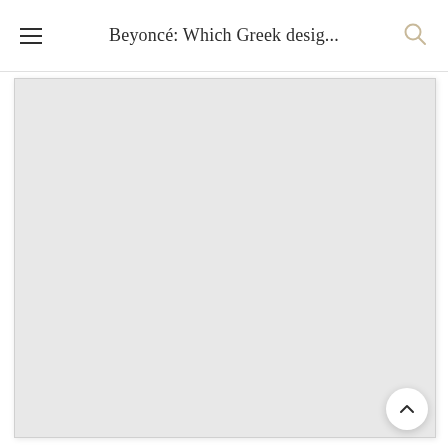Beyoncé: Which Greek desig...
[Figure (photo): Large light grey placeholder image area occupying most of the page below the header, representing a photo related to the article about Beyoncé and Greek designers.]